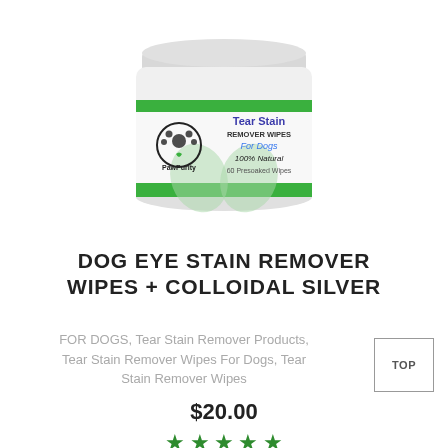[Figure (photo): PawPurity Tear Stain Remover Wipes for Dogs product container — white cylindrical jar with green label reading 'Tear Stain Remover Wipes For Dogs, 100% Natural, 60 Presoaked Wipes' with PawPurity logo]
DOG EYE STAIN REMOVER WIPES + COLLOIDAL SILVER
FOR DOGS, Tear Stain Remover Products, Tear Stain Remover Wipes For Dogs, Tear Stain Remover Wipes
TOP
$20.00
[Figure (other): Five green star rating icons]